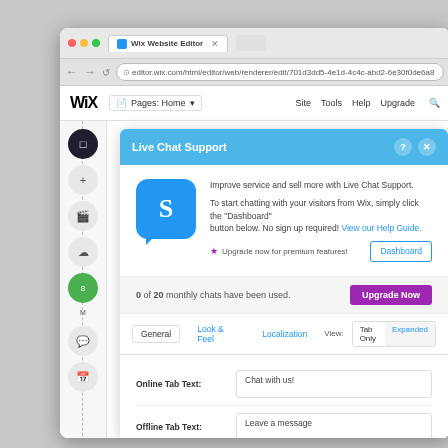[Figure (screenshot): Screenshot of Wix Website Editor browser window showing Live Chat Support dialog. The dialog has a blue header 'Live Chat Support', a chat app logo (S), description text, Dashboard button, usage counter '0 of 20 monthly chats have been used', Upgrade Now button, tabs (General, Look & Feel, Localization), view toggle (Tab Only / Expanded), and form fields for Online Tab Text, Offline Tab Text, Notification Email, and Mobile URL.]